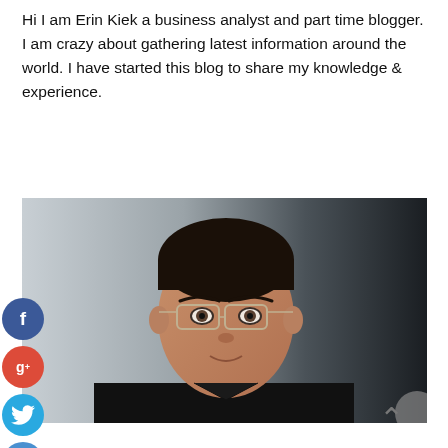Hi I am Erin Kiek a business analyst and part time blogger. I am crazy about gathering latest information around the world. I have started this blog to share my knowledge & experience.
[Figure (photo): A man wearing glasses and a dark jacket, photographed against a light-to-dark gradient background. Social media share buttons (Facebook, Google+, Twitter, and a plus button) appear on the left side overlapping the image.]